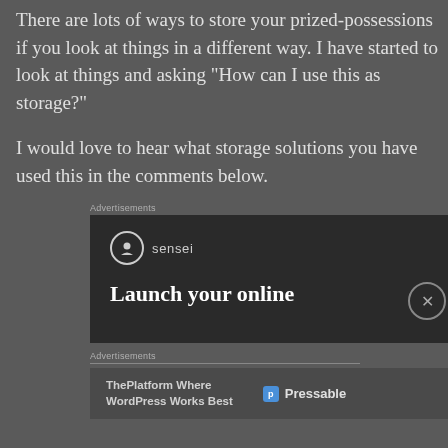There are lots of ways to store your prized-possessions if you look at things in a different way. I have started to look at things and asking “How can I use this as storage?”
I would love to hear what storage solutions you have used this in the comments below.
Advertisements
[Figure (screenshot): A dark advertisement banner for Sensei showing a logo with a person icon and the text 'Launch your online' visible at the bottom]
Advertisements
[Figure (infographic): A Pressable advertisement bar showing 'ThePlatform Where WordPress Works Best' with the Pressable logo]